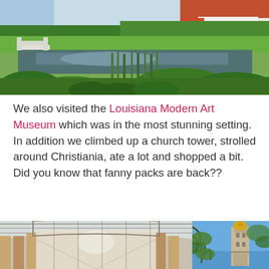[Figure (photo): Landscape photo of the Louisiana Modern Art Museum grounds showing a tranquil pond with lily pads and aquatic plants in the foreground, a small white bridge on the left, lush green grass and trees in the background, and white and red-roofed buildings visible in the upper right corner.]
We also visited the Louisiana Modern Art Museum which was in the most stunning setting. In addition we climbed up a church tower, strolled around Christiania, ate a lot and shopped a bit. Did you know that fanny packs are back??
[Figure (photo): Interior corridor of the Louisiana Modern Art Museum showing a long glass-roofed hallway with arched ceiling, wooden window frames on either side, and light streaming in.]
[Figure (photo): Photo of a church tower with a golden dome or spire, seen against a bright blue sky with tree branches in the foreground.]